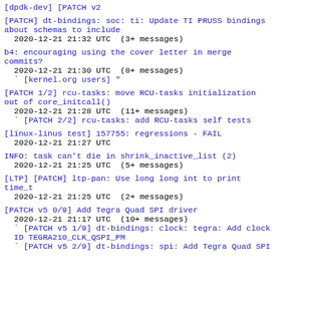[dpdk-dev] [PATCH v2
[PATCH] dt-bindings: soc: ti: Update TI PRUSS bindings about schemas to include
 2020-12-21 21:32 UTC  (3+ messages)
b4: encouraging using the cover letter in merge commits?
 2020-12-21 21:30 UTC  (8+ messages)
` [kernel.org users] "
[PATCH 1/2] rcu-tasks: move RCU-tasks initialization out of core_initcall()
 2020-12-21 21:28 UTC  (11+ messages)
` [PATCH 2/2] rcu-tasks: add RCU-tasks self tests
[linux-linus test] 157755: regressions - FAIL
 2020-12-21 21:27 UTC
INFO: task can't die in shrink_inactive_list (2)
 2020-12-21 21:25 UTC  (5+ messages)
[LTP] [PATCH] ltp-pan: Use long long int to print time_t
 2020-12-21 21:25 UTC  (2+ messages)
[PATCH v5 0/9] Add Tegra Quad SPI driver
 2020-12-21 21:17 UTC  (10+ messages)
` [PATCH v5 1/9] dt-bindings: clock: tegra: Add clock ID TEGRA210_CLK_QSPI_PM
` [PATCH v5 2/9] dt-bindings: spi: Add Tegra Quad SPI